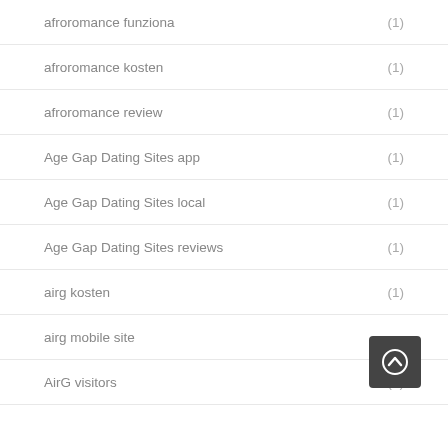afroromance funziona (1)
afroromance kosten (1)
afroromance review (1)
Age Gap Dating Sites app (1)
Age Gap Dating Sites local (1)
Age Gap Dating Sites reviews (1)
airg kosten (1)
airg mobile site
AirG visitors (1)